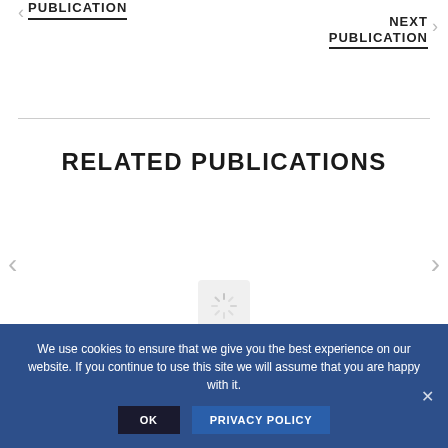< PUBLICATION
NEXT PUBLICATION >
RELATED PUBLICATIONS
[Figure (other): Left navigation arrow for carousel]
[Figure (other): Right navigation arrow for carousel]
[Figure (other): Loading spinner icon placeholder]
We use cookies to ensure that we give you the best experience on our website. If you continue to use this site we will assume that you are happy with it.
OK
PRIVACY POLICY